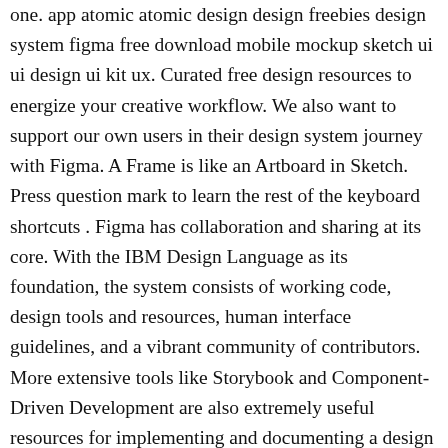one. app atomic atomic design design freebies design system figma free download mobile mockup sketch ui ui design ui kit ux. Curated free design resources to energize your creative workflow. We also want to support our own users in their design system journey with Figma. A Frame is like an Artboard in Sketch. Press question mark to learn the rest of the keyboard shortcuts . Figma has collaboration and sharing at its core. With the IBM Design Language as its foundation, the system consists of working code, design tools and resources, human interface guidelines, and a vibrant community of contributors. More extensive tools like Storybook and Component-Driven Development are also extremely useful resources for implementing and documenting a design system. This plan also provides unlimited cloud storage and a 30-day version history. Will Fanguy defines it as “a collection of reusable components, guided by clear standards, that can be assembled to build any number of applications.” A design system may include not only a UI component library and a pattern